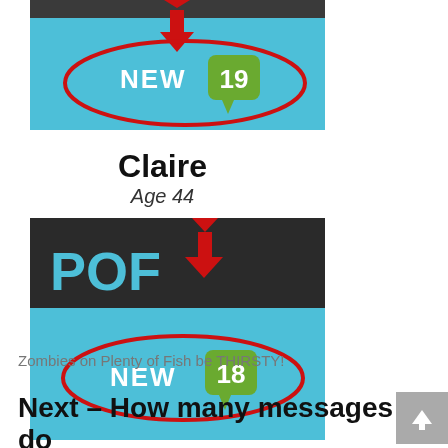[Figure (screenshot): App screenshot showing a teal/blue banner with 'NEW' text and a green speech bubble badge with '19', circled in red with a red arrow pointing down]
Claire
Age 44
[Figure (screenshot): App screenshot showing POF logo on dark background with teal/blue banner below containing 'NEW' text and a green speech bubble badge with '18', circled in red with a red arrow pointing down]
Zombies on Plenty of Fish be THIRSTY!
Next – How many messages do